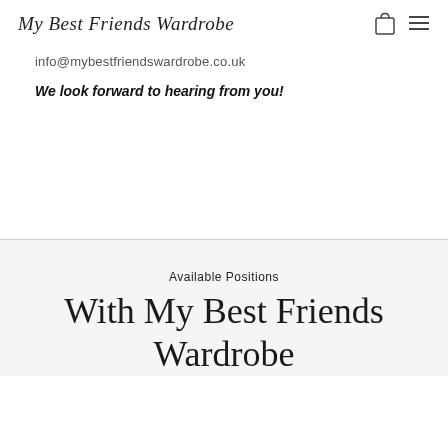My Best Friends Wardrobe
info@mybestfriendswardrobe.co.uk
We look forward to hearing from you!
Available Positions
With My Best Friends Wardrobe